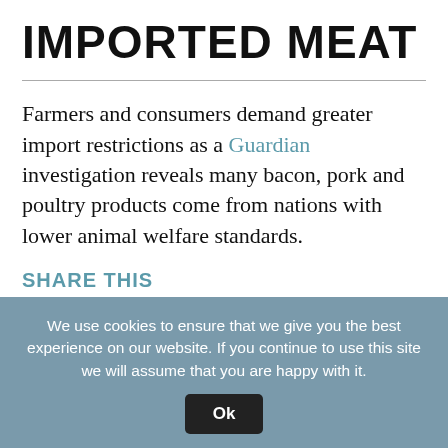IMPORTED MEAT
Farmers and consumers demand greater import restrictions as a Guardian investigation reveals many bacon, pork and poultry products come from nations with lower animal welfare standards.
SHARE THIS
Twitter  Facebook  Email
Animal Rights  Animals in Agriculture
Leave a Reply
We use cookies to ensure that we give you the best experience on our website. If you continue to use this site we will assume that you are happy with it.